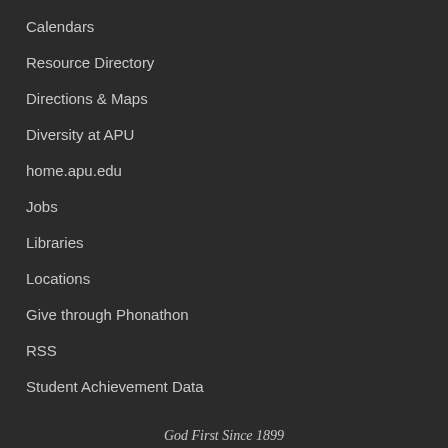Calendars
Resource Directory
Directions & Maps
Diversity at APU
home.apu.edu
Jobs
Libraries
Locations
Give through Phonathon
RSS
Student Achievement Data
God First Since 1899